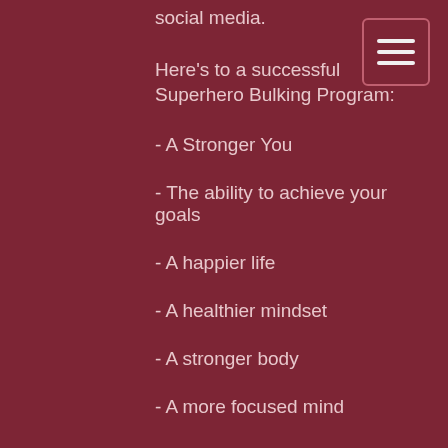social media.
Here's to a successful Superhero Bulking Program:
- A Stronger You
- The ability to achieve your goals
- A happier life
- A healthier mindset
- A stronger body
- A more focused mind
- A higher confidence
- Better relationships
- Better self esteem